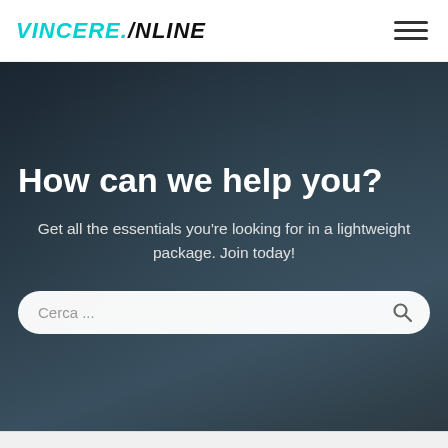VINCERE.ONLINE
How can we help you?
Get all the essentials you're looking for in a lightweight package. Join today!
[Figure (screenshot): Search input field with placeholder text 'Cerca ...' and a search icon button on the right, on a white rounded pill background.]